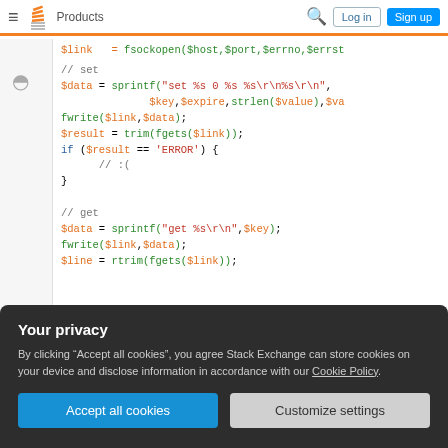Stack Exchange navigation: hamburger menu, logo, Products, search, Log in, Sign up
[Figure (screenshot): PHP code snippet showing memcache set and get operations with socket connection. Code includes: $link = fsockopen(...), // set comment, $data = sprintf("set %s 0 %s %s\r\n%s\r\n", $key,$expire,strlen($value),$va, fwrite($link,$data);, $result = trim(fgets($link));, if ($result == 'ERROR') {, // :(, }, // get comment, $data = sprintf("get %s\r\n",$key);, fwrite($link,$data);, $line = rtrim(fgets($link));]
Your privacy
By clicking "Accept all cookies", you agree Stack Exchange can store cookies on your device and disclose information in accordance with our Cookie Policy.
Accept all cookies
Customize settings